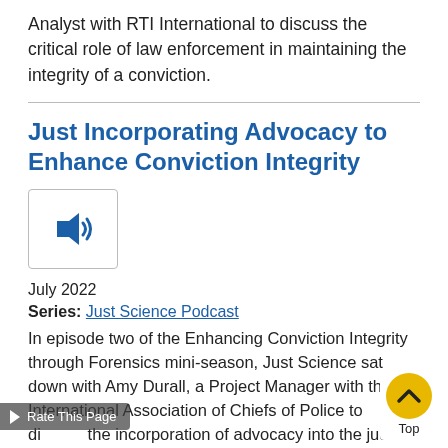Analyst with RTI International to discuss the critical role of law enforcement in maintaining the integrity of a conviction.
Just Incorporating Advocacy to Enhance Conviction Integrity
[Figure (other): Audio player icon — speaker with sound waves in a bordered box]
July 2022
Series: Just Science Podcast
In episode two of the Enhancing Conviction Integrity through Forensics mini-season, Just Science sat down with Amy Durall, a Project Manager with the International Association of Chiefs of Police to discuss the incorporation of advocacy into the judicial